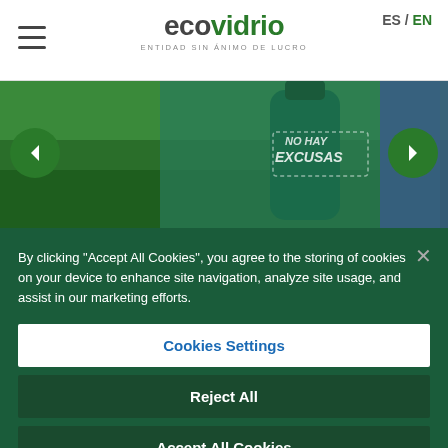ES / EN
[Figure (logo): Ecovidrio logo with tagline ENTIDAD SIN ÁNIMO DE LUCRO]
[Figure (photo): Hero image showing a green bottle with text NO HAY EXCUSAS on a grassy background]
By clicking "Accept All Cookies", you agree to the storing of cookies on your device to enhance site navigation, analyze site usage, and assist in our marketing efforts.
Cookies Settings
Reject All
Accept All Cookies